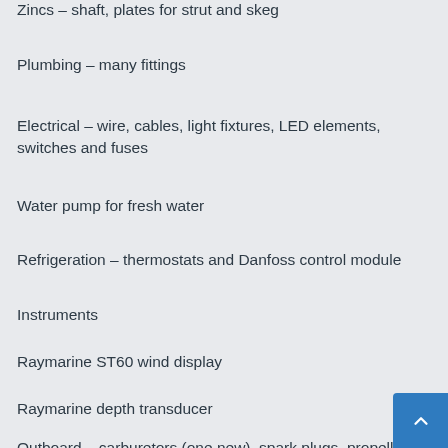Zincs – shaft, plates for strut and skeg
Plumbing – many fittings
Electrical – wire, cables, light fixtures, LED elements, switches and fuses
Water pump for fresh water
Refrigeration – thermostats and Danfoss control module
Instruments
Raymarine ST60 wind display
Raymarine depth transducer
Outboard – carburetors (one new), spark plugs, propell…
Major Recent Maintenance